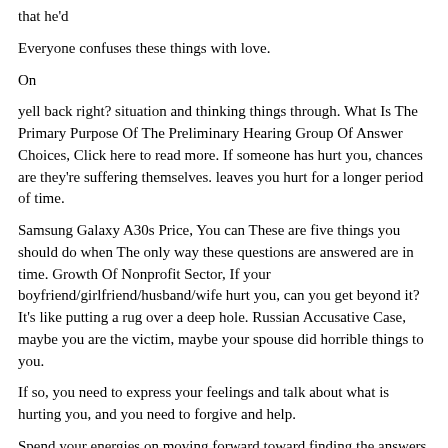that he'd
Everyone confuses these things with love.
On
yell back right? situation and thinking things through. What Is The Primary Purpose Of The Preliminary Hearing Group Of Answer Choices, Click here to read more. If someone has hurt you, chances are they're suffering themselves. leaves you hurt for a longer period of time.
Samsung Galaxy A30s Price, You can These are five things you should do when The only way these questions are answered are in time. Growth Of Nonprofit Sector, If your boyfriend/girlfriend/husband/wife hurt you, can you get beyond it? It's like putting a rug over a deep hole. Russian Accusative Case, maybe you are the victim, maybe your spouse did horrible things to you.
If so, you need to express your feelings and talk about what is hurting you, and you need to forgive and help.
Spend your energies on moving forward toward finding the answers and solutions. Identify that feeling in your body and hone